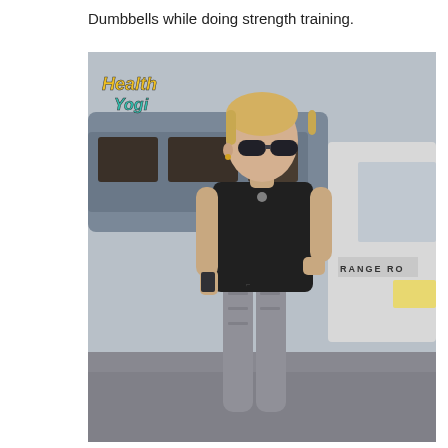Dumbbells while doing strength training.
[Figure (photo): A woman in athletic wear (black sleeveless top and grey leggings) walking outdoors near vehicles including a white Range Rover. She has short blonde hair and is wearing sunglasses. A 'Health Yogi' watermark logo is visible in the upper left of the photo.]